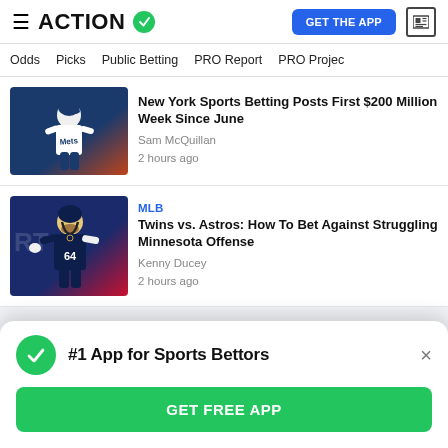ACTION ✓ | GET THE APP
Odds | Picks | Public Betting | PRO Report | PRO Projec
[Figure (photo): Mets baseball player in white uniform with blue lettering, running on field]
New York Sports Betting Posts First $200 Million Week Since June
Sam McQuillan
2 hours ago
MLB
[Figure (photo): Minnesota Twins baseball player wearing number 64 navy jersey]
Twins vs. Astros: How To Bet Against Struggling Minnesota Offense
Kenny Ducey
2 hours ago
#1 App for Sports Bettors
GET FREE APP